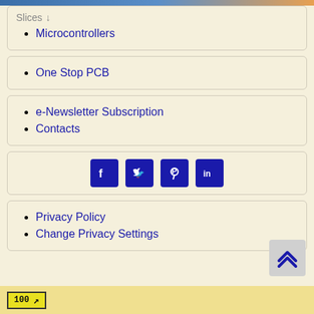Slices ↓
Microcontrollers
One Stop PCB
e-Newsletter Subscription
Contacts
[Figure (infographic): Social media icons: Facebook, Twitter, Pinterest, LinkedIn]
Privacy Policy
Change Privacy Settings
100 ↗